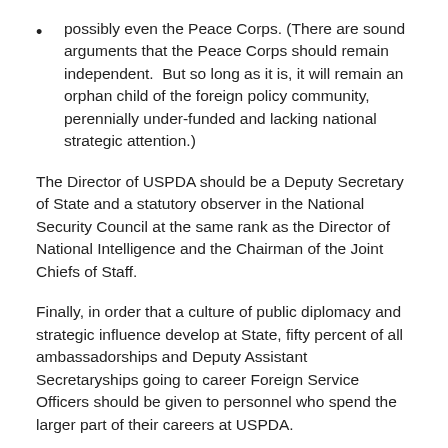possibly even the Peace Corps. (There are sound arguments that the Peace Corps should remain independent.  But so long as it is, it will remain an orphan child of the foreign policy community, perennially under-funded and lacking national strategic attention.)
The Director of USPDA should be a Deputy Secretary of State and a statutory observer in the National Security Council at the same rank as the Director of National Intelligence and the Chairman of the Joint Chiefs of Staff.
Finally, in order that a culture of public diplomacy and strategic influence develop at State, fifty percent of all ambassadorships and Deputy Assistant Secretaryships going to career Foreign Service Officers should be given to personnel who spend the larger part of their careers at USPDA.